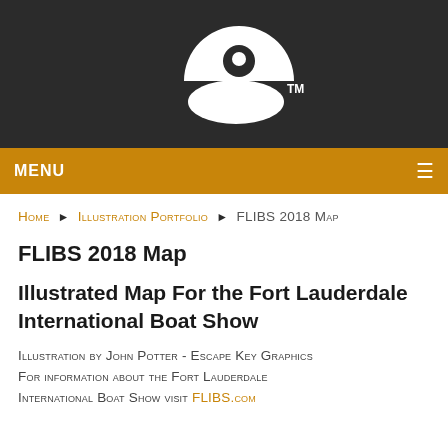[Figure (logo): White eye/face logo on dark background with TM mark]
MENU ≡
Home ▶ Illustration Portfolio ▶ FLIBS 2018 Map
FLIBS 2018 Map
Illustrated Map For the Fort Lauderdale International Boat Show
Illustration by John Potter - Escape Key Graphics
For information about the Fort Lauderdale International Boat Show visit FLIBS.com